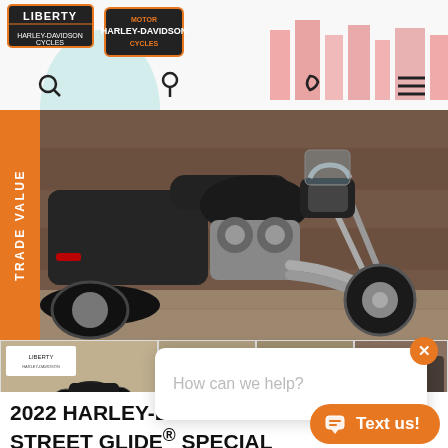[Figure (logo): Liberty Harley-Davidson Cycles logo with Statue of Liberty and city skyline background, plus navigation icons (search, location pin, phone, hamburger menu)]
[Figure (photo): 2022 Harley-Davidson Street Glide Special Denim FLHXS motorcycle in dark matte black finish displayed in a showroom with wooden wall backdrop. Orange TRADE VALUE banner on left side.]
[Figure (photo): Thumbnail row showing multiple angles of the same motorcycle]
How can we help?
2022 HARLEY-DAVIDSON® STREET GLIDE® SPECIAL DENIM FLHXS